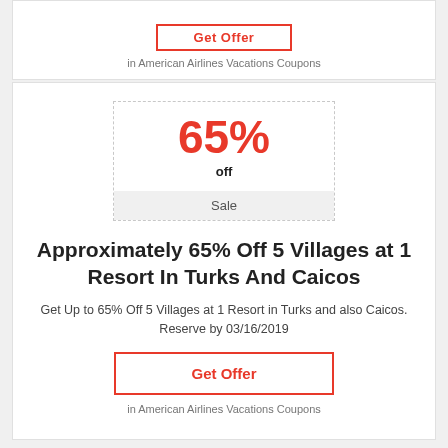[Figure (other): Partial coupon card at top showing a red-bordered 'Get Offer' button and 'in American Airlines Vacations Coupons' text (cropped from previous card)]
in American Airlines Vacations Coupons
65% off
Sale
Approximately 65% Off 5 Villages at 1 Resort In Turks And Caicos
Get Up to 65% Off 5 Villages at 1 Resort in Turks and also Caicos. Reserve by 03/16/2019
Get Offer
in American Airlines Vacations Coupons